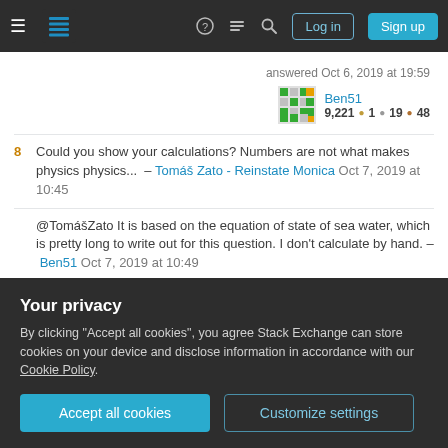Stack Exchange navigation bar with hamburger menu, logo, help, chat, search icons, Log in and Sign up buttons
answered Oct 6, 2019 at 19:59
Ben51  9,221  ●1  ●19  ●48
8  Could you show your calculations? Numbers are not what makes physics physics... – Tomáš Zato - Reinstate Monica  Oct 7, 2019 at 10:45
@TomášZato It is based on the equation of state of sea water, which is pretty long to write out for this question. I don't calculate by hand. – Ben51  Oct 7, 2019 at 10:49
9  Surely there's an article about it or something, that would...
Your privacy
By clicking "Accept all cookies", you agree Stack Exchange can store cookies on your device and disclose information in accordance with our Cookie Policy.
Accept all cookies   Customize settings
It might also be nice to expand the first sentence with info of this type: "... is significant but estimated to be somewhat less